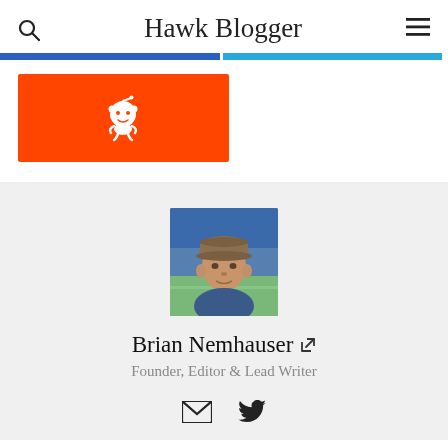Hawk Blogger
[Figure (logo): Reddit orange button with white Reddit alien (Snoo) mascot icon]
[Figure (photo): Profile photo of Brian Nemhauser at a football stadium, wearing a cap]
Brian Nemhauser ↗
Founder, Editor & Lead Writer
[Figure (infographic): Email icon and Twitter bird icon for contact links]